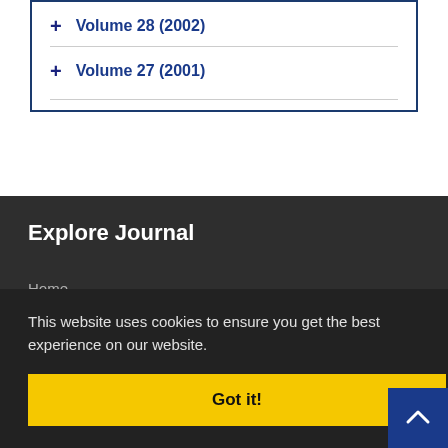+ Volume 28 (2002)
+ Volume 27 (2001)
Explore Journal
Home
About Journal
Editorial Board
This website uses cookies to ensure you get the best experience on our website.
Got it!